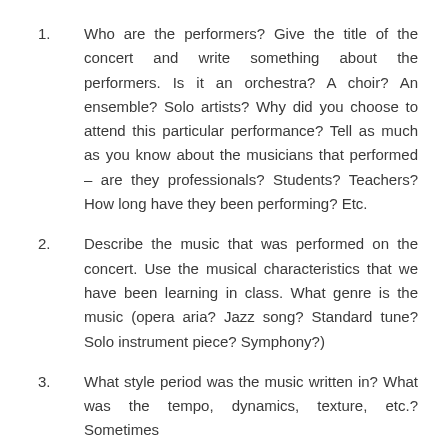1.   Who are the performers? Give the title of the concert and write something about the performers. Is it an orchestra? A choir? An ensemble? Solo artists? Why did you choose to attend this particular performance? Tell as much as you know about the musicians that performed – are they professionals? Students? Teachers? How long have they been performing? Etc.
2.   Describe the music that was performed on the concert. Use the musical characteristics that we have been learning in class. What genre is the music (opera aria? Jazz song? Standard tune? Solo instrument piece? Symphony?)
3.   What style period was the music written in? What was the tempo, dynamics, texture, etc.? Sometimes